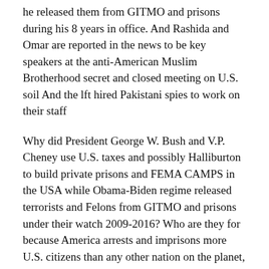he released them from GITMO and prisons during his 8 years in office. And Rashida and Omar are reported in the news to be key speakers at the anti-American Muslim Brotherhood secret and closed meeting on U.S. soil And the lft hired Pakistani spies to work on their staff
Why did President George W. Bush and V.P. Cheney use U.S. taxes and possibly Halliburton to build private prisons and FEMA CAMPS in the USA while Obama-Biden regime released terrorists and Felons from GITMO and prisons under their watch 2009-2016? Who are they for because America arrests and imprisons more U.S. citizens than any other nation on the planet, but it appears Australia and Canada could be surpassing the USA and alleging forcing their citizens into concentration camps in 2021 if they refuse to be used as human lab rats.